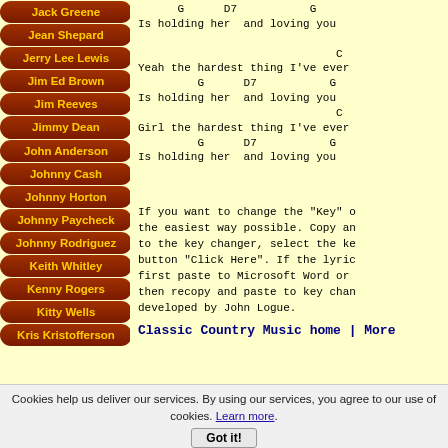Jack Greene
Jean Shepard
Jerry Lee Lewis
Jim Ed Brown
Jim Reeves
Jimmy Dean
John Anderson
Johnny Cash
Johnny Horton
Johnny Paycheck
Johnny Rodriguez
Keith Whitley
Kenny Rogers
Kitty Wells
Kris Kristofferson
G      D7           G
Is holding her  and loving you
                              C
Yeah the hardest thing I've ever
         G      D7           G
Is holding her  and loving you
                              C
Girl the hardest thing I've ever
         G      D7           G
Is holding her  and loving you
If you want to change the "Key" of the easiest way possible. Copy and to the key changer, select the key button "Click Here". If the lyric first paste to Microsoft Word or then recopy and paste to key char developed by John Logue.
Classic Country Music home | More
Cookies help us deliver our services. By using our services, you agree to our use of cookies. Learn more. Got it!